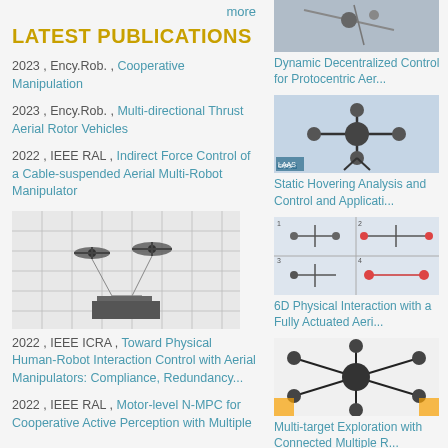more
LATEST PUBLICATIONS
2023 , Ency.Rob. , Cooperative Manipulation
2023 , Ency.Rob. , Multi-directional Thrust Aerial Rotor Vehicles
2022 , IEEE RAL , Indirect Force Control of a Cable-suspended Aerial Multi-Robot Manipulator
[Figure (photo): Aerial robots flying with cable-suspended payload in a laboratory with grid background]
2022 , IEEE ICRA , Toward Physical Human-Robot Interaction Control with Aerial Manipulators: Compliance, Redundancy...
2022 , IEEE RAL , Motor-level N-MPC for Cooperative Active Perception with Multiple
[Figure (photo): Dynamic Decentralized Control for Protocentric Aer... - aerial robot image at top of right column]
Dynamic Decentralized Control for Protocentric Aer...
[Figure (photo): Static Hovering Analysis and Control and Applicati... - image of multi-rotor drone with arms]
Static Hovering Analysis and Control and Applicati...
[Figure (photo): 6D Physical Interaction with a Fully Actuated Aeri... - grid of four aerial robot photos]
6D Physical Interaction with a Fully Actuated Aeri...
[Figure (photo): Multi-target Exploration with Connected Multiple R... - hexapod drone on white background]
Multi-target Exploration with Connected Multiple R...
[Figure (photo): Protocentric Aerial Manipulators: Differential Fla... - drone with yellow/orange cables on floor]
Protocentric Aerial Manipulators: Differential Fla...
[Figure (photo): Bottom right partial image - schematic/diagram]